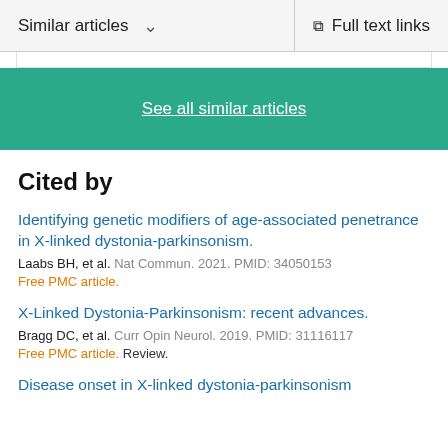Similar articles ∨   Full text links
See all similar articles
Cited by
Identifying genetic modifiers of age-associated penetrance in X-linked dystonia-parkinsonism.
Laabs BH, et al. Nat Commun. 2021. PMID: 34050153
Free PMC article.
X-Linked Dystonia-Parkinsonism: recent advances.
Bragg DC, et al. Curr Opin Neurol. 2019. PMID: 31116117
Free PMC article. Review.
Disease onset in X-linked dystonia-parkinsonism